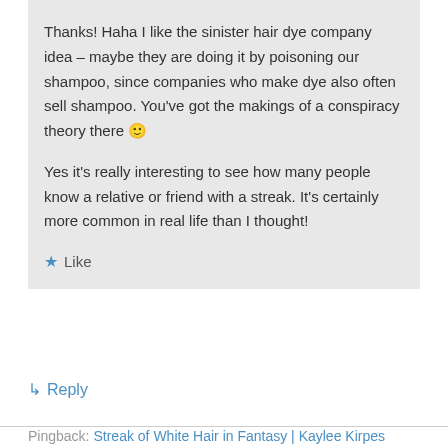Thanks! Haha I like the sinister hair dye company idea – maybe they are doing it by poisoning our shampoo, since companies who make dye also often sell shampoo. You've got the makings of a conspiracy theory there 🙂
Yes it's really interesting to see how many people know a relative or friend with a streak. It's certainly more common in real life than I thought!
★ Like
↳ Reply
Pingback: Streak of White Hair in Fantasy | Kaylee Kirpes